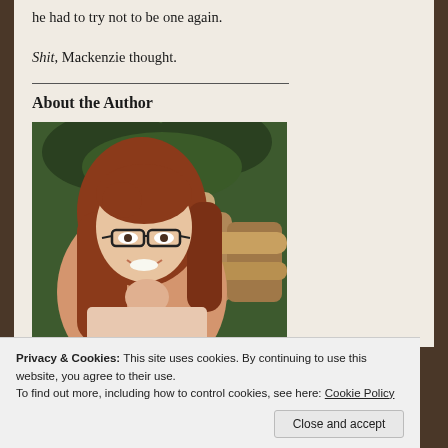he had to try not to be one again.
Shit, Mackenzie thought.
About the Author
[Figure (photo): Author portrait photo: a smiling woman with long red hair and dark-framed glasses, seated near a wooden fence/log railing with greenery in the background]
Privacy & Cookies: This site uses cookies. By continuing to use this website, you agree to their use.
To find out more, including how to control cookies, see here: Cookie Policy